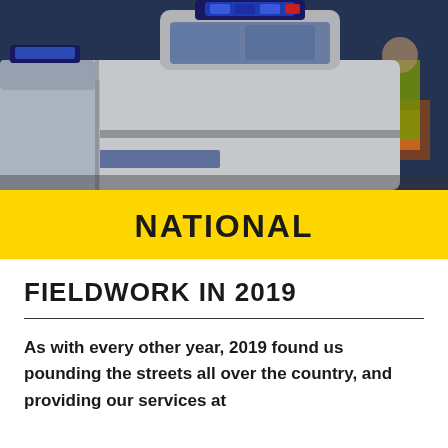[Figure (photo): Police vehicles viewed from behind, including white police cars with blue emergency lights on top, in an outdoor setting. Officers in yellow/green vests visible in background.]
NATIONAL
FIELDWORK IN 2019
As with every other year, 2019 found us pounding the streets all over the country, and providing our services at